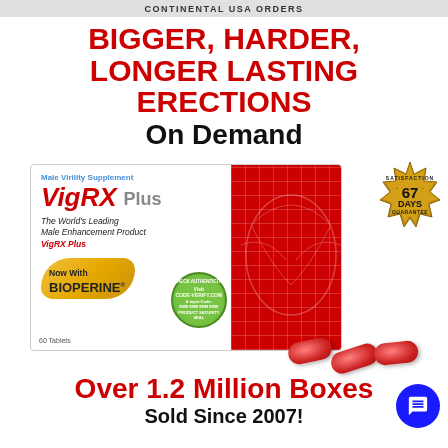CONTINENTAL USA ORDERS
BIGGER, HARDER, LONGER LASTING ERECTIONS On Demand
[Figure (photo): VigRX Plus product box showing Male Virility Supplement label, Now With Bioperine badge, 60 tablets, with red capsule pills in front and a 67 Days Satisfaction Guarantee seal.]
Over 1.2 Million Boxes Sold Since 2007!